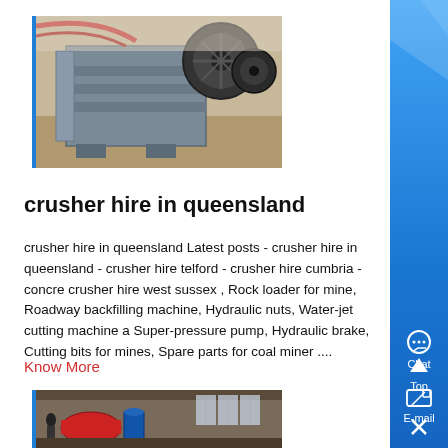[Figure (photo): Industrial jaw crusher machine, large grey metal equipment with belt/pulley system, in a factory/workshop setting]
crusher hire in queensland
crusher hire in queensland Latest posts - crusher hire in queensland - crusher hire telford - crusher hire cumbria - concre crusher hire west sussex , Rock loader for mine, Roadway backfilling machine, Hydraulic nuts, Water-jet cutting machine a Super-pressure pump, Hydraulic brake, Cutting bits for mines, Spare parts for coal miner ....
Know More
[Figure (photo): Industrial machinery in a factory interior, showing equipment and workshop floor]